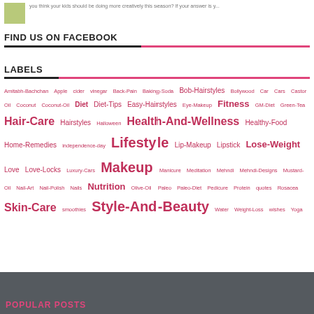you think your kids should be doing more creatively this season? If your answer is y...
FIND US ON FACEBOOK
LABELS
Amitabh-Bachchan Apple cider vinegar Back-Pain Baking-Soda Bob-Hairstyles Bollywood Car Cars Castor Oil Coconut Coconut-Oil Diet Diet-Tips Easy-Hairstyles Eye-Makeup Fitness GM-Diet Green-Tea Hair-Care Hairstyles Halloween Health-And-Wellness Healthy-Food Home-Remedies independence-day Lifestyle Lip-Makeup Lipstick Lose-Weight Love Love-Locks Luxury-Cars Makeup Manicure Meditation Mehndi Mehndi-Designs Mustard-Oil Nail-Art Nail-Polish Nails Nutrition Olive-Oil Paleo Paleo-Diet Pedicure Protein quotes Rosacea Skin-Care smoothies Style-And-Beauty Water Weight-Loss wishes Yoga
POPULAR POSTS